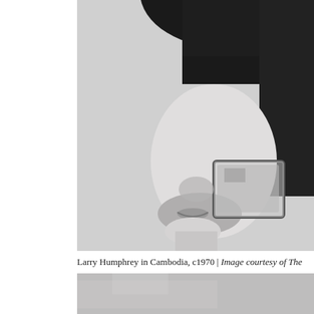[Figure (photo): Black and white close-up photograph of a person (Larry Humphrey) in Cambodia, circa 1970. The upper portion shows the top of a dark hat and the lower half of a face with glasses visible. The image is grainy.]
Larry Humphrey in Cambodia, c1970 | Image courtesy of The
[Figure (photo): Partial black and white photograph at the bottom of the page, showing a light grey grainy surface, appearing to be the top of another image cropped at the page edge.]